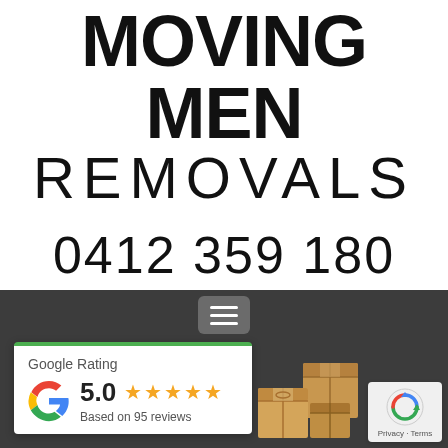MOVING MEN REMOVALS
0412 359 180
[Figure (screenshot): Bottom section showing a dark grey navigation bar with menu icon, a Google Rating card showing 5.0 stars based on 95 reviews with Google logo, cardboard moving boxes in background, and a reCAPTCHA privacy badge]